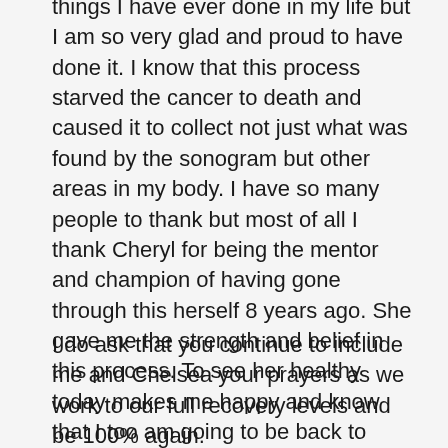things I have ever done in my life but I am so very glad and proud to have done it. I know that this process starved the cancer to death and caused it to collect not just what was found by the sonogram but other areas in my body. I have so many people to thank but most of all I thank Cheryl for being the mentor and champion of having gone through this herself 8 years ago. She gave me the strength and belief in this process. To see her healthy today makes me happy and know that I too am going to be back to complete health very soon. PS I can't wait to play some tennis again!
I do ask that you continue to include me and Chelsea your prayers as we work to our full recovery levels and be 100% again.